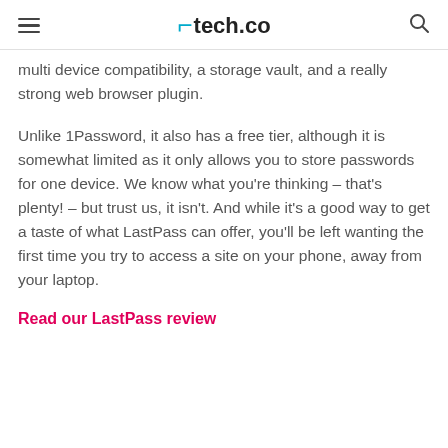tech.co
multi device compatibility, a storage vault, and a really strong web browser plugin.
Unlike 1Password, it also has a free tier, although it is somewhat limited as it only allows you to store passwords for one device. We know what you're thinking – that's plenty! – but trust us, it isn't. And while it's a good way to get a taste of what LastPass can offer, you'll be left wanting the first time you try to access a site on your phone, away from your laptop.
Read our LastPass review